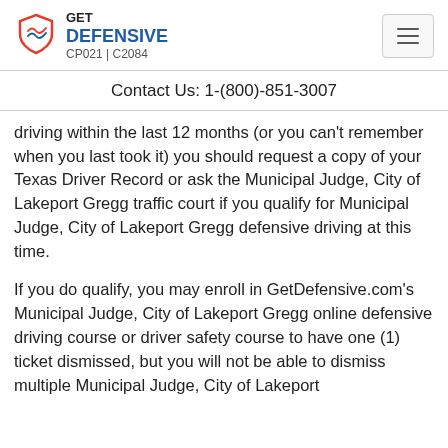GET DEFENSIVE CP021 | C2084
Contact Us: 1-(800)-851-3007
driving within the last 12 months (or you can't remember when you last took it) you should request a copy of your Texas Driver Record or ask the Municipal Judge, City of Lakeport Gregg traffic court if you qualify for Municipal Judge, City of Lakeport Gregg defensive driving at this time.
If you do qualify, you may enroll in GetDefensive.com's Municipal Judge, City of Lakeport Gregg online defensive driving course or driver safety course to have one (1) ticket dismissed, but you will not be able to dismiss multiple Municipal Judge, City of Lakeport